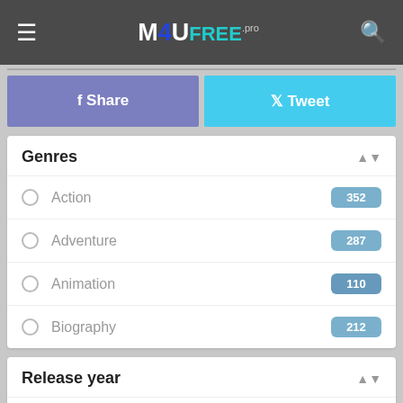M4UFREE.pro — hamburger menu, search icon
f Share
Tweet
Genres
Action 352
Adventure 287
Animation 110
Biography 212
Release year
2022
2021